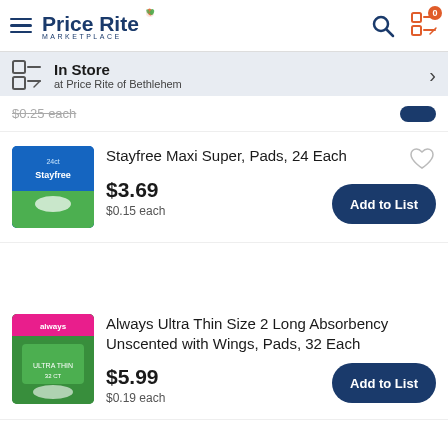[Figure (logo): Price Rite Marketplace logo with hamburger menu icon]
In Store
at Price Rite of Bethlehem
$0.25 each (partially visible, top of page)
Stayfree Maxi Super, Pads, 24 Each
$3.69
$0.15 each
Always Ultra Thin Size 2 Long Absorbency Unscented with Wings, Pads, 32 Each
$5.99
$0.19 each